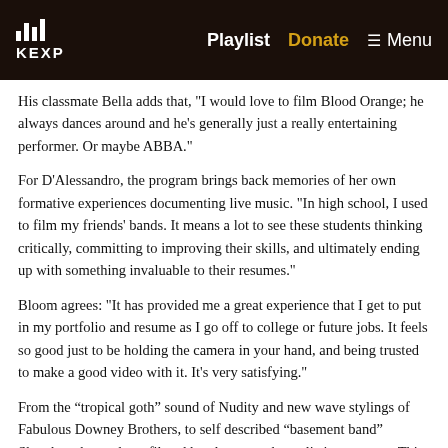KEXP | Playlist | Donate | Menu
His classmate Bella adds that, "I would love to film Blood Orange; he always dances around and he's generally just a really entertaining performer. Or maybe ABBA."
For D'Alessandro, the program brings back memories of her own formative experiences documenting live music. "In high school, I used to film my friends' bands. It means a lot to see these students thinking critically, committing to improving their skills, and ultimately ending up with something invaluable to their resumes."
Bloom agrees: "It has provided me a great experience that I get to put in my portfolio and resume as I go off to college or future jobs. It feels so good just to be holding the camera in your hand, and being trusted to make a good video with it. It's very satisfying."
From the “tropical goth” sound of Nudity and new wave stylings of Fabulous Downey Brothers, to self described “basement band” Sloucher, the students filmed bands across the stylistic spectrum. This Saturday, February 11, the students will film the fifth installment in the series, featuring a set by Seattle-based act Emma Lee Toyoda.